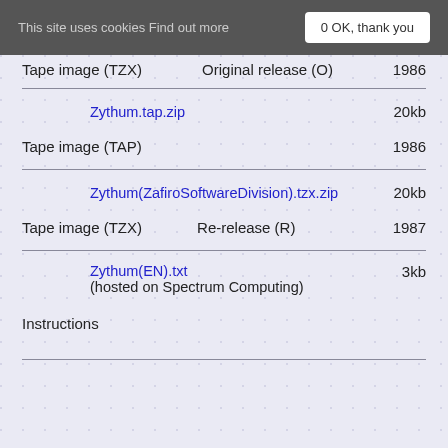This site uses cookies Find out more  0 OK, thank you
Tape image (TZX)   Original release (O)   1986
Zythum.tap.zip   20kb
Tape image (TAP)   1986
Zythum(ZafiroSoftwareDivision).tzx.zip   20kb
Tape image (TZX)   Re-release (R)   1987
Zythum(EN).txt
(hosted on Spectrum Computing)   3kb
Instructions